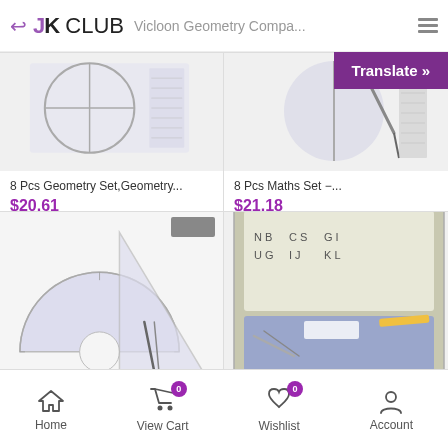JK CLUB  Vicloon Geometry Compa...
Translate »
[Figure (photo): Product photo of geometry set with compass and ruler]
8 Pcs Geometry Set,Geometry...
$20.61
Excl. (Tax and shipping)
[Figure (photo): Product photo of maths set with compass and tools]
8 Pcs Maths Set −...
$21.18
Excl. (Tax and shipping)
[Figure (photo): Product photo of geometry set with protractor and ruler set]
[Figure (photo): Product photo of geometry set in tin case]
Home  View Cart 0  Wishlist 0  Account